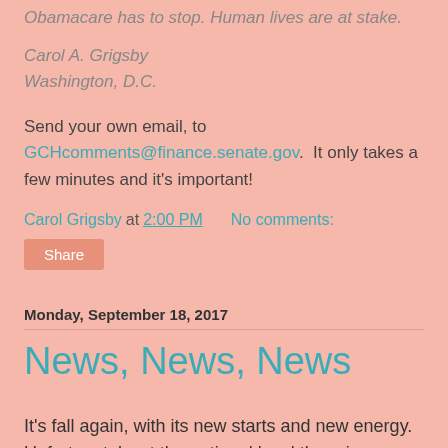Obamacare has to stop. Human lives are at stake.
Carol A. Grigsby
Washington, D.C.
Send your own email, to GCHcomments@finance.senate.gov.  It only takes a few minutes and it's important!
Carol Grigsby at 2:00 PM   No comments:
Share
Monday, September 18, 2017
News, News, News
It's fall again, with its new starts and new energy. Unfortunately, at the national level there is a new